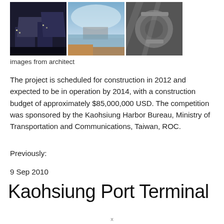[Figure (photo): Three architectural photos of Kaohsiung Port Terminal: a night view of a modern building, a waterfront view with reflections, and a close-up of metallic architectural detail]
images from architect
The project is scheduled for construction in 2012 and expected to be in operation by 2014, with a construction budget of approximately $85,000,000 USD. The competition was sponsored by the Kaohsiung Harbor Bureau, Ministry of Transportation and Communications, Taiwan, ROC.
Previously:
9 Sep 2010
Kaohsiung Port Terminal
x